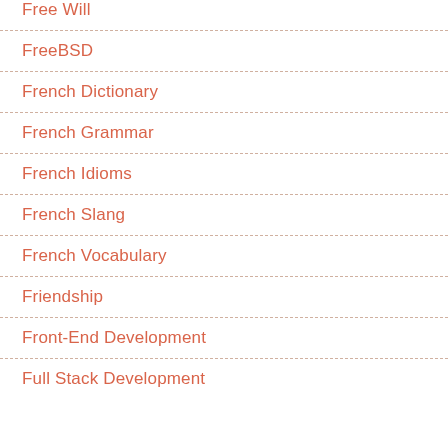Free Will
FreeBSD
French Dictionary
French Grammar
French Idioms
French Slang
French Vocabulary
Friendship
Front-End Development
Full Stack Development